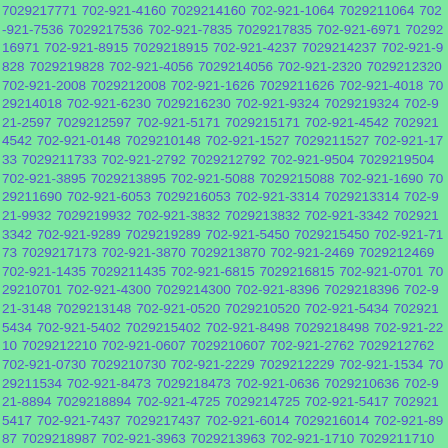7029217771 702-921-4160 7029214160 702-921-1064 7029211064 702-921-7536 7029217536 702-921-7835 7029217835 702-921-6971 7029216971 702-921-8915 7029218915 702-921-4237 7029214237 702-921-9828 7029219828 702-921-4056 7029214056 702-921-2320 7029212320 702-921-2008 7029212008 702-921-1626 7029211626 702-921-4018 7029214018 702-921-6230 7029216230 702-921-9324 7029219324 702-921-2597 7029212597 702-921-5171 7029215171 702-921-4542 7029214542 702-921-0148 7029210148 702-921-1527 7029211527 702-921-1733 7029211733 702-921-2792 7029212792 702-921-9504 7029219504 702-921-3895 7029213895 702-921-5088 7029215088 702-921-1690 7029211690 702-921-6053 7029216053 702-921-3314 7029213314 702-921-9932 7029219932 702-921-3832 7029213832 702-921-3342 7029213342 702-921-9289 7029219289 702-921-5450 7029215450 702-921-7173 7029217173 702-921-3870 7029213870 702-921-2469 7029212469 702-921-1435 7029211435 702-921-6815 7029216815 702-921-0701 7029210701 702-921-4300 7029214300 702-921-8396 7029218396 702-921-3148 7029213148 702-921-0520 7029210520 702-921-5434 7029215434 702-921-5402 7029215402 702-921-8498 7029218498 702-921-2210 7029212210 702-921-0607 7029210607 702-921-2762 7029212762 702-921-0730 7029210730 702-921-2229 7029212229 702-921-1534 7029211534 702-921-8473 7029218473 702-921-0636 7029210636 702-921-8894 7029218894 702-921-4725 7029214725 702-921-5417 7029215417 702-921-7437 7029217437 702-921-6014 7029216014 702-921-8987 7029218987 702-921-3963 7029213963 702-921-1710 7029211710